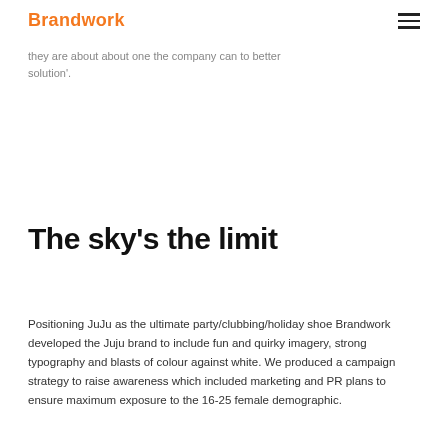Brandwork
solution'.
The sky's the limit
Positioning JuJu as the ultimate party/clubbing/holiday shoe Brandwork developed the Juju brand to include fun and quirky imagery, strong typography and blasts of colour against white. We produced a campaign strategy to raise awareness which included marketing and PR plans to ensure maximum exposure to the 16-25 female demographic.